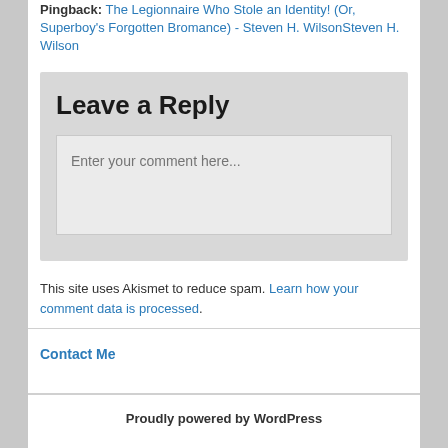Pingback: The Legionnaire Who Stole an Identity! (Or, Superboy's Forgotten Bromance) - Steven H. WilsonSteven H. Wilson
Leave a Reply
Enter your comment here...
This site uses Akismet to reduce spam. Learn how your comment data is processed.
Contact Me
Proudly powered by WordPress